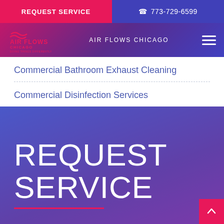REQUEST SERVICE | 773-729-6599
[Figure (logo): Air Flows Chicago logo with text 'AIR FLOWS CHICAGO' and tagline 'DOING THINGS DIFFERENTLY']
Commercial Bathroom Exhaust Cleaning
Commercial Disinfection Services
REQUEST SERVICE